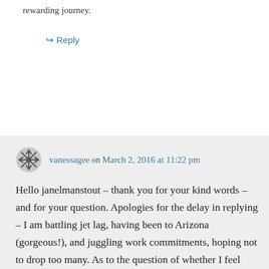rewarding journey.
↪ Reply
vanessagee on March 2, 2016 at 11:22 pm
Hello janelmanstout – thank you for your kind words – and for your question. Apologies for the delay in replying – I am battling jet lag, having been to Arizona (gorgeous!), and juggling work commitments, hoping not to drop too many. As to the question of whether I feel burdened when writing a character's experiences – the answer is yes. Sometimes, it is very difficult to do. It takes it out of me emotionally, as I am literally